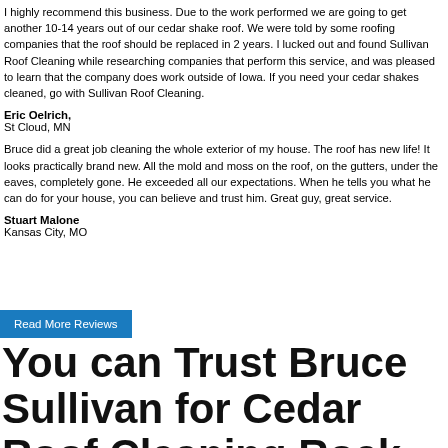I highly recommend this business. Due to the work performed we are going to get another 10-14 years out of our cedar shake roof. We were told by some roofing companies that the roof should be replaced in 2 years. I lucked out and found Sullivan Roof Cleaning while researching companies that perform this service, and was pleased to learn that the company does work outside of Iowa. If you need your cedar shakes cleaned, go with Sullivan Roof Cleaning.
Eric Oelrich,
St Cloud, MN
Bruce did a great job cleaning the whole exterior of my house. The roof has new life! It looks practically brand new. All the mold and moss on the roof, on the gutters, under the eaves, completely gone. He exceeded all our expectations. When he tells you what he can do for your house, you can believe and trust him. Great guy, great service.
Stuart Malone
Kansas City, MO
Read More Reviews
You can Trust Bruce Sullivan for Cedar Roof Cleaning Rock Island Ill...